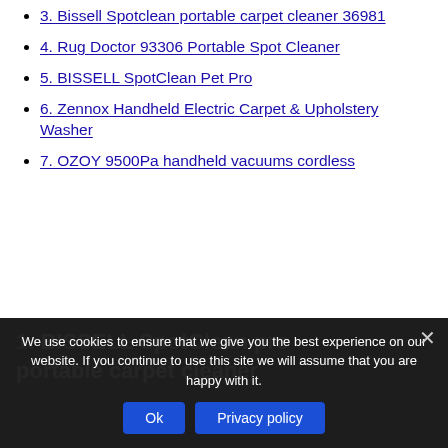3. Bissell Spotclean portable carpet cleaner 36981
4. Rug Doctor 93306 Portable Spot Cleaner
5. BISSELL SpotClean Pet Pro
6. Zennox Handheld Electric Carpet & Upholstery Washer
7. OZOY 9500Pa handheld vacuums cordless
1. BISSELL SpotClean pro portable carpet cleaner
We use cookies to ensure that we give you the best experience on our website. If you continue to use this site we will assume that you are happy with it.
Ok | Privacy policy